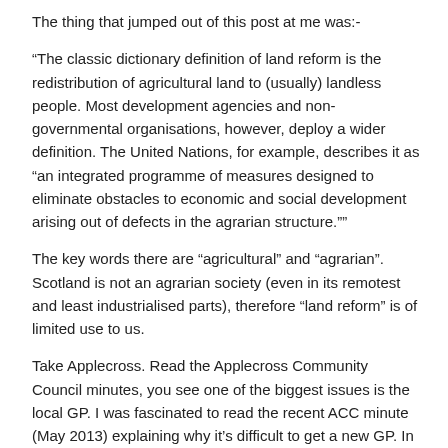The thing that jumped out of this post at me was:-
“The classic dictionary definition of land reform is the redistribution of agricultural land to (usually) landless people. Most development agencies and non-governmental organisations, however, deploy a wider definition. The United Nations, for example, describes it as “an integrated programme of measures designed to eliminate obstacles to economic and social development arising out of defects in the agrarian structure.””
The key words there are “agricultural” and “agrarian”. Scotland is not an agrarian society (even in its remotest and least industrialised parts), therefore “land reform” is of limited use to us.
Take Applecross. Read the Applecross Community Council minutes, you see one of the biggest issues is the local GP. I was fascinated to read the recent ACC minute (May 2013) explaining why it’s difficult to get a new GP. In my naivety/ignorance, I